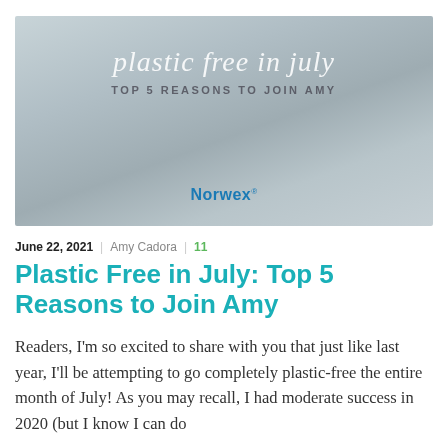[Figure (illustration): Promotional banner image with light grey/blue background showing plastic items faintly visible. Large italic text reads 'plastic free in july' in white, below it 'TOP 5 REASONS TO JOIN AMY' in small spaced caps, and 'Norwex' logo in blue at the bottom center.]
June 22, 2021  |  Amy Cadora  |  11
Plastic Free in July: Top 5 Reasons to Join Amy
Readers, I'm so excited to share with you that just like last year, I'll be attempting to go completely plastic-free the entire month of July! As you may recall, I had moderate success in 2020 (but I know I can do